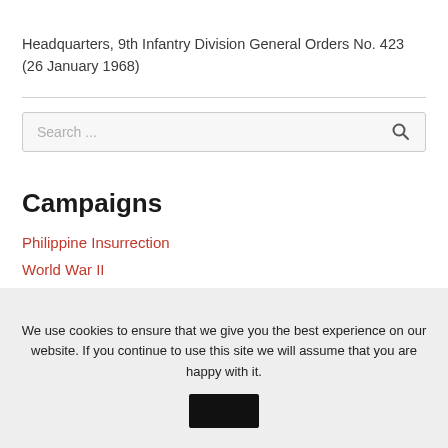Headquarters, 9th Infantry Division General Orders No. 423 (26 January 1968)
[Figure (other): Search box with placeholder text 'Search ...' and a search icon]
Campaigns
Philippine Insurrection
World War II
We use cookies to ensure that we give you the best experience on our website. If you continue to use this site we will assume that you are happy with it.